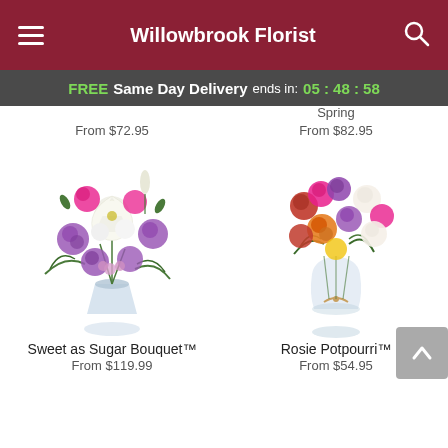Willowbrook Florist
FREE Same Day Delivery ends in: 05 : 48 : 58
From $72.95
Spring
From $82.95
[Figure (photo): Sweet as Sugar Bouquet: large vase arrangement with white oriental lilies, purple and pink roses, white lisianthus, and green ferns]
[Figure (photo): Rosie Potpourri: glass vase with mixed colorful roses including red, pink, orange, yellow, purple, and white roses with greenery]
Sweet as Sugar Bouquet™
From $119.99
Rosie Potpourri™
From $54.95